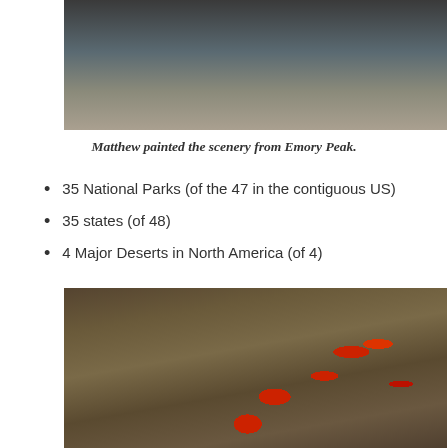[Figure (photo): Photo of painting supplies and a person at Emory Peak, viewed from above, showing a watercolor palette, water container, and backpack on rocky terrain.]
Matthew painted the scenery from Emory Peak.
35 National Parks (of the 47 in the contiguous US)
35 states (of 48)
4 Major Deserts in North America (of 4)
[Figure (photo): Close-up photo of blooming cactus plants with bright red flowers in a desert landscape.]